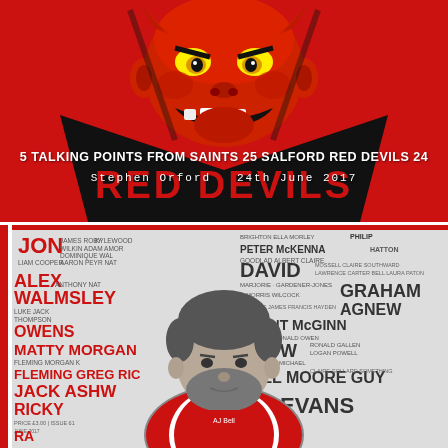[Figure (logo): Salford Red Devils logo on red background — red devil face with yellow eyes, horns, white teeth, black chevron shape below, 'RED DEVILS' text in large red letters on black background]
5 TALKING POINTS FROM SAINTS 25 SALFORD RED DEVILS 24
Stephen Orford   24th June 2017
[Figure (photo): Black and white photo of a man with beard wearing a red and white rugby jersey, surrounded by a word-cloud background featuring player names including JON, ALEX WALMSLEY, MATTY MORGAN, JACK ASHW, RICKY, PETER MCKENNA, DAVID, GRAHAM AGNEW, VINCENT MCGINN, MOORE GUY, EVANS and many others]